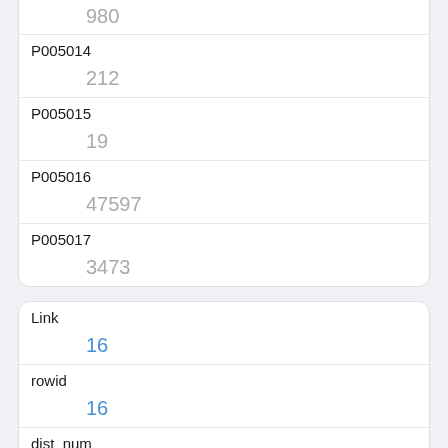| Field | Value |
| --- | --- |
| (partial top) | 980 |
| P005014 | 212 |
| P005015 | 19 |
| P005016 | 47597 |
| P005017 | 3473 |
| Field | Value |
| --- | --- |
| Link | 16 |
| rowid | 16 |
| dist_num | 17 |
| P003001 | 144096 |
| P003002 | 84601 |
| P003003 | (partial) |